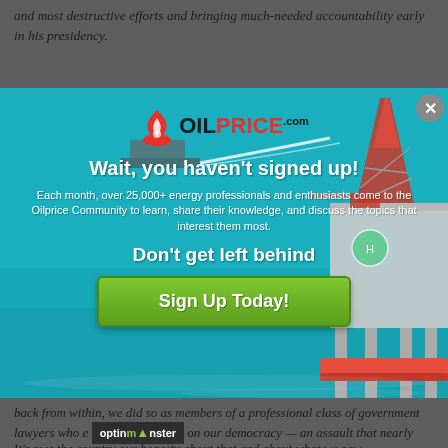and most destructive efforts and bringing much-needed accountability early in his presidency.
[Figure (screenshot): OilPrice.com popup advertisement overlay on article. Features oil rig on ocean background. Contains OilPrice.com logo, headline 'Wait, you haven't signed up!', body text about 25,000+ energy professionals, subheadline 'Don't get left behind', and green 'Sign Up Today!' button. Close button (X) in top right corner. OptinMonster branding bar visible.]
back from within, we did so as members of a professional class of government lawyers who endured an assault on our democracy — an assault that nearly ended it.
We owe the country our honesty about that and about what we saw.